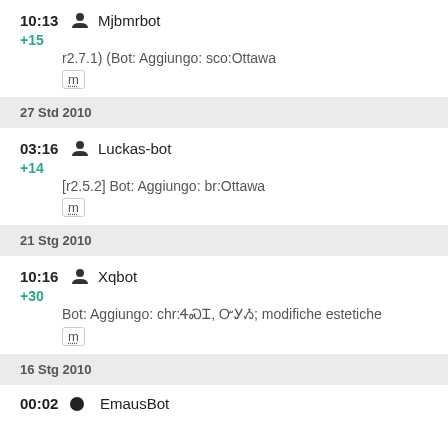10:13  Mjbmrbot  +15  r2.7.1) (Bot: Aggiungo: sco:Ottawa  m
27 Std 2010
03:16  Luckas-bot  +14  [r2.5.2] Bot: Aggiungo: br:Ottawa  m
21 Stg 2010
10:16  Xqbot  +30  Bot: Aggiungo: chr:ᏎᏍᏆ, ᏅᎩᏱ; modifiche estetiche  m
16 Stg 2010
00:02  EmausBot